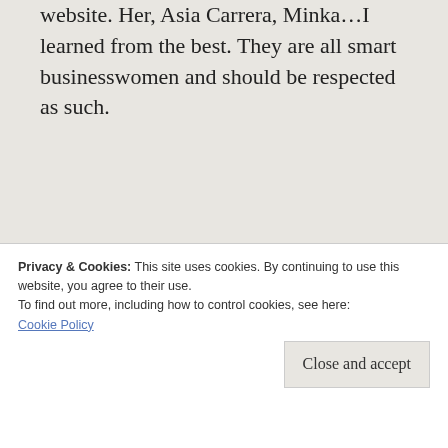website. Her, Asia Carrera, Minka…I learned from the best. They are all smart businesswomen and should be respected as such.
[Figure (screenshot): Advertisement for Day One journaling app with blue background, cartoon icons, and text 'The only journaling app you'll ever need.']
My website was never intended as your classic adult site. It's always been a fan club. Of course
Privacy & Cookies: This site uses cookies. By continuing to use this website, you agree to their use.
To find out more, including how to control cookies, see here:
Cookie Policy
wrestling matches, fitness and diet tips, all my